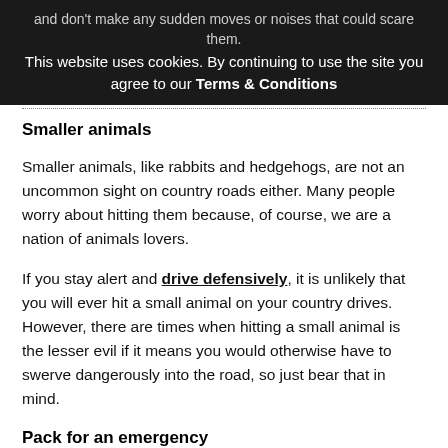This website uses cookies. By continuing to use the site you agree to our Terms & Conditions
Smaller animals
Smaller animals, like rabbits and hedgehogs, are not an uncommon sight on country roads either. Many people worry about hitting them because, of course, we are a nation of animals lovers.
If you stay alert and drive defensively, it is unlikely that you will ever hit a small animal on your country drives. However, there are times when hitting a small animal is the lesser evil if it means you would otherwise have to swerve dangerously into the road, so just bear that in mind.
Pack for an emergency
When you're driving in the countryside, you need to be prepared for any eventuality. Although it is really unlikely